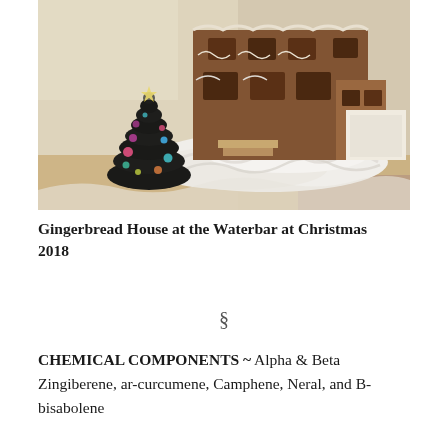[Figure (photo): Photo of a gingerbread house display at the Waterbar at Christmas 2018, featuring a dark chocolate Christmas tree with colorful ornaments, a large gingerbread building with white icing decorations, and a white whipped cream snow scene on a table.]
Gingerbread House at the Waterbar at Christmas 2018
§
CHEMICAL COMPONENTS ~ Alpha & Beta Zingiberene, ar-curcumene, Camphene, Neral, and B-bisabolene